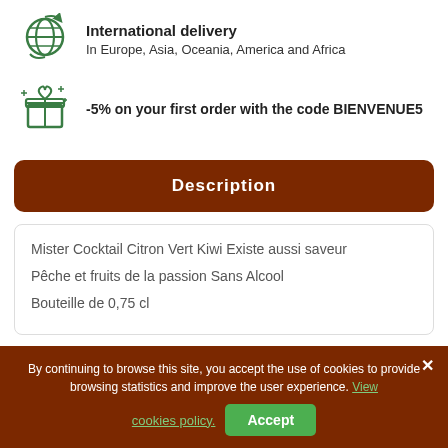[Figure (illustration): Green globe/international delivery icon with circular arrows]
International delivery
In Europe, Asia, Oceania, America and Africa
[Figure (illustration): Green gift box icon with sparkles]
-5% on your first order with the code BIENVENUE5
Description
Mister Cocktail Citron Vert Kiwi Existe aussi saveur
Pêche et fruits de la passion Sans Alcool
Bouteille de 0,75 cl
By continuing to browse this site, you accept the use of cookies to provide browsing statistics and improve the user experience. View cookies policy.
Other products from the same